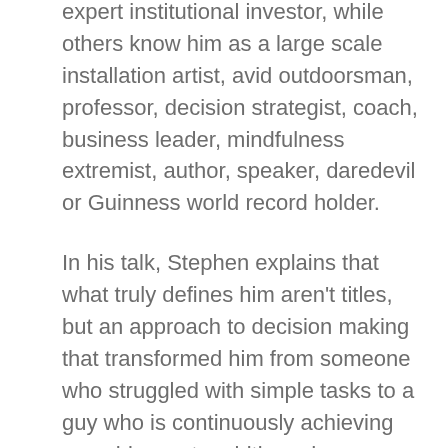expert institutional investor, while others know him as a large scale installation artist, avid outdoorsman, professor, decision strategist, coach, business leader, mindfulness extremist, author, speaker, daredevil or Guinness world record holder.
In his talk, Stephen explains that what truly defines him aren't titles, but an approach to decision making that transformed him from someone who struggled with simple tasks to a guy who is continuously achieving even his most ambitious dreams.
For thirty years, he has applied cognitive science to investing, business and life. The result has been the turnaround of numerous institutional